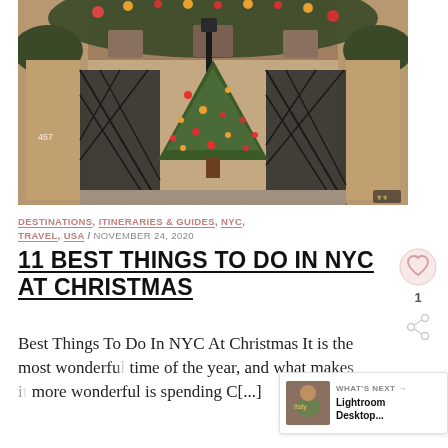[Figure (photo): A Christmas tree decorated with colorful ornaments stands in front of ornate iron gates of a sandstone building, with floral garland arching overhead. The building has the number 457 visible.]
DESTINATIONS, ITINERARIES & GUIDES, NYC, TRAVEL, USA / NOVEMBER 24, 2020
11 BEST THINGS TO DO IN NYC AT CHRISTMAS
Best Things To Do In NYC At Christmas It is the most wonderful time of the year, and what makes it more wonderful is spending C[...]